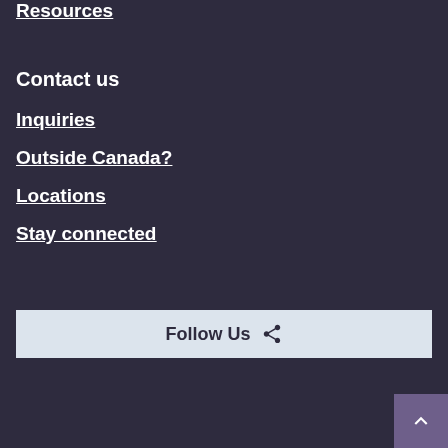Resources
Contact us
Inquiries
Outside Canada?
Locations
Stay connected
Follow Us
[Figure (other): Back to top button with upward chevron arrow]